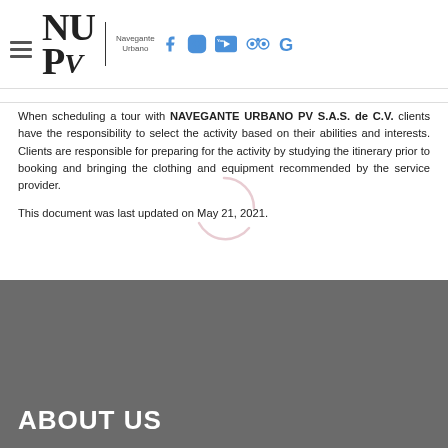[Figure (logo): Navegante Urbano PV logo with NUP/V letters in serif font, a vertical divider, 'Navegante Urbano' text, and social media icons (Facebook, Instagram, YouTube, TripAdvisor, Google)]
When scheduling a tour with NAVEGANTE URBANO PV S.A.S. de C.V. clients have the responsibility to select the activity based on their abilities and interests. Clients are responsible for preparing for the activity by studying the itinerary prior to booking and bringing the clothing and equipment recommended by the service provider.
This document was last updated on May 21, 2021.
ABOUT US